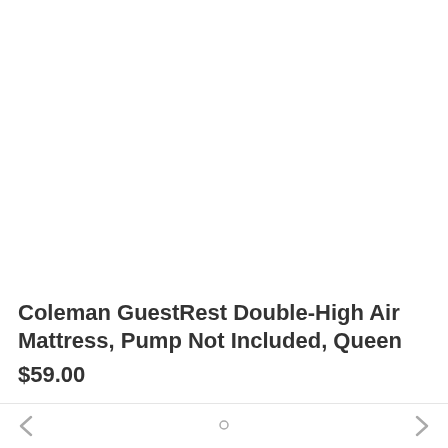[Figure (photo): White/blank product image area for Coleman GuestRest Double-High Air Mattress]
Coleman GuestRest Double-High Air Mattress, Pump Not Included, Queen
$59.00